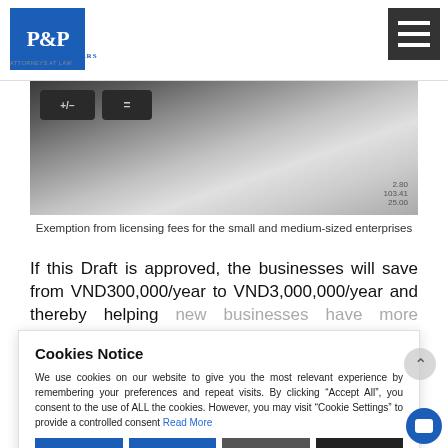Phuoc & Partners Attorneys at Law
[Figure (photo): Close-up photo of calculator keys and financial document numbers including 2.80, 103.41, 25.00]
Exemption from licensing fees for the small and medium-sized enterprises
If this Draft is approved, the businesses will save from VND300,000/year to VND3,000,000/year and thereby helping new businesses have more conditions to accumulate its capital, reducing production costs when newly being established with many difficulties.
At the same time, this increases the competiveness of goods and services, increases accessibility, and promotes investment, domestic consumption, especially...
Vietnam is currently a member of many Free Tra...
Cookies Notice
We use cookies on our website to give you the most relevant experience by remembering your preferences and repeat visits. By clicking “Accept All”, you consent to the use of ALL the cookies. However, you may visit "Cookie Settings" to provide a controlled consent Read More